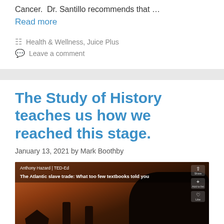Cancer.  Dr. Santillo recommends that …
Read more
Health & Wellness, Juice Plus
Leave a comment
The Study of History teaches us how we reached this stage.
January 13, 2021 by Mark Boothby
[Figure (screenshot): YouTube/TED-Ed video thumbnail showing Anthony Hazard TED-Ed talk titled 'The Atlantic slave trade: What too few textbooks told you' with dark silhouetted figures against an orange-brown background]